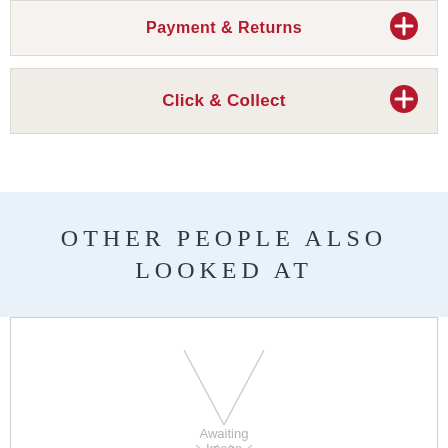Payment & Returns
Click & Collect
OTHER PEOPLE ALSO LOOKED AT
[Figure (illustration): Awaiting Image placeholder with an X graphic inside a bordered box]